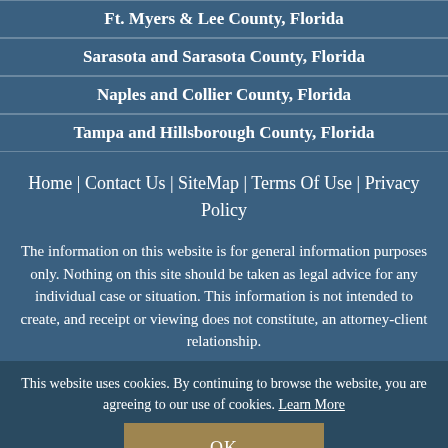Ft. Myers & Lee County, Florida
Sarasota and Sarasota County, Florida
Naples and Collier County, Florida
Tampa and Hillsborough County, Florida
Home | Contact Us | SiteMap | Terms Of Use | Privacy Policy
The information on this website is for general information purposes only. Nothing on this site should be taken as legal advice for any individual case or situation. This information is not intended to create, and receipt or viewing does not constitute, an attorney-client relationship.
This website uses cookies. By continuing to browse the website, you are agreeing to our use of cookies. Learn More
OK